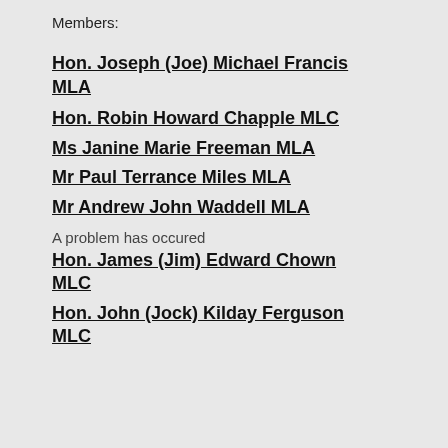Members:
Hon. Joseph (Joe) Michael Francis MLA
Hon. Robin Howard Chapple MLC
Ms Janine Marie Freeman MLA
Mr Paul Terrance Miles MLA
Mr Andrew John Waddell MLA
A problem has occured
Hon. James (Jim) Edward Chown MLC
Hon. John (Jock) Kilday Ferguson MLC